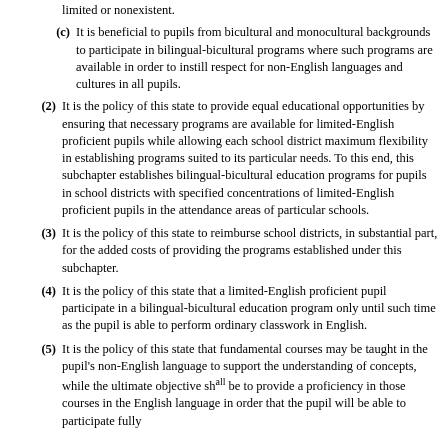(c) It is beneficial to pupils from bicultural and monocultural backgrounds to participate in bilingual-bicultural programs where such programs are available in order to instill respect for non-English languages and cultures in all pupils.
(2) It is the policy of this state to provide equal educational opportunities by ensuring that necessary programs are available for limited-English proficient pupils while allowing each school district maximum flexibility in establishing programs suited to its particular needs. To this end, this subchapter establishes bilingual-bicultural education programs for pupils in school districts with specified concentrations of limited-English proficient pupils in the attendance areas of particular schools.
(3) It is the policy of this state to reimburse school districts, in substantial part, for the added costs of providing the programs established under this subchapter.
(4) It is the policy of this state that a limited-English proficient pupil participate in a bilingual-bicultural education program only until such time as the pupil is able to perform ordinary classwork in English.
(5) It is the policy of this state that fundamental courses may be taught in the pupil's non-English language to support the understanding of concepts, while the ultimate objective shall be to provide a proficiency in those courses in the English language in order that the pupil will be able to participate fully...